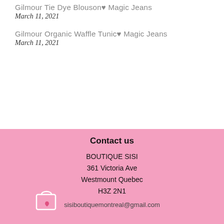Gilmour Tie Dye Blouson♥ Magic Jeans
March 11, 2021
Gilmour Organic Waffle Tunic♥ Magic Jeans
March 11, 2021
Contact us
BOUTIQUE SISI
361 Victoria Ave
Westmount Quebec
H3Z 2N1
sisiboutiquemontreal@gmail.com